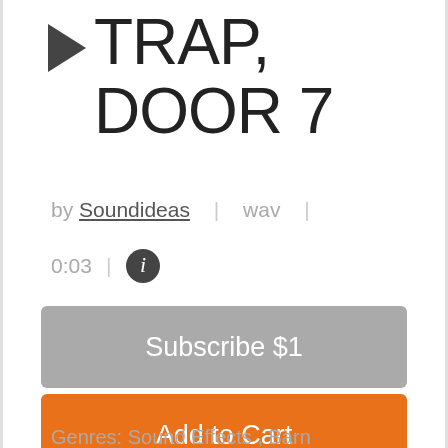▶ TRAP, DOOR 7
by Soundideas | wav |
0:03 | ℹ
Subscribe $1
Add to Cart
Genres: Sound Effects , Barn